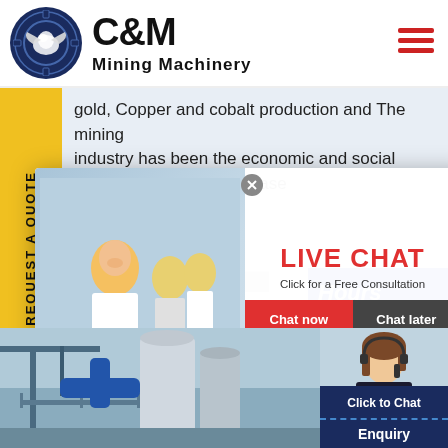[Figure (logo): C&M Mining Machinery logo with eagle in gear circle, dark navy blue]
gold, Copper and cobalt production and The mining industry has been the economic and social backbone of... phase et price... estone m... Sale. Gu... ition case for your mining and M...
REQUEST A QUOTE
[Figure (infographic): Live Chat popup overlay with worker photo, LIVE CHAT heading, Chat now and Chat later buttons, and customer service agent photo on right side]
Hours
line
LIVE CHAT
Click for a Free Consultation
Chat now
Chat later
[Figure (photo): Industrial mining site with crane and large silo tanks]
Click to Chat
Enquiry